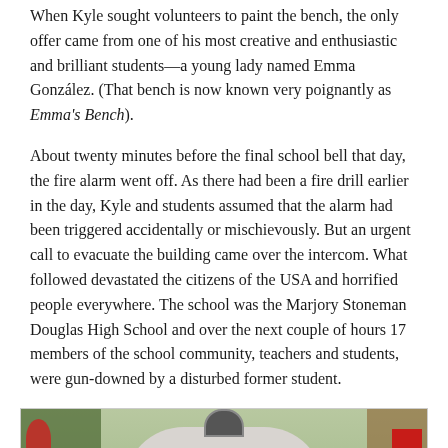When Kyle sought volunteers to paint the bench, the only offer came from one of his most creative and enthusiastic and brilliant students—a young lady named Emma González. (That bench is now known very poignantly as Emma's Bench).
About twenty minutes before the final school bell that day, the fire alarm went off. As there had been a fire drill earlier in the day, Kyle and students assumed that the alarm had been triggered accidentally or mischievously. But an urgent call to evacuate the building came over the intercom. What followed devastated the citizens of the USA and horrified people everywhere. The school was the Marjory Stoneman Douglas High School and over the next couple of hours 17 members of the school community, teachers and students, were gun-downed by a disturbed former student.
[Figure (photo): Photograph of the Marjory Stoneman Douglas High School entrance sign, a white arched stone sign with the school name and eagle logo, surrounded by trees and memorial flowers.]